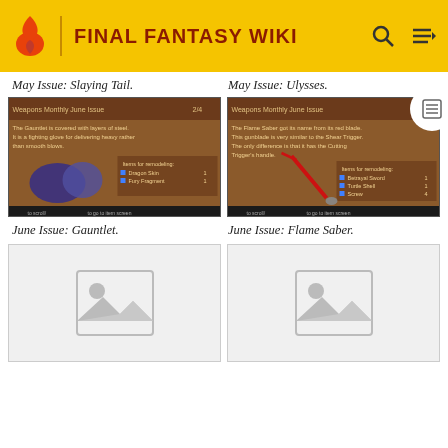FINAL FANTASY WIKI
May Issue: Slaying Tail.
May Issue: Ulysses.
[Figure (screenshot): Game screenshot: Weapons Monthly June Issue 2/4 - The Gauntlet is covered with layers of steel. It is a fighting glove for delivering heavy rather than smooth blows. Items for remodeling: Dragon Skin 1, Fury Fragment 1]
[Figure (screenshot): Game screenshot: Weapons Monthly June Issue 1/4 - The Flame Saber got its name from its red blade. This gunblade is very similar to the Shear Trigger. The only difference is that it has the Cutting Trigger's handle. Items for remodeling: Betrayal Sword 1, Turtle Shell 1, Screw 4]
June Issue: Gauntlet.
June Issue: Flame Saber.
[Figure (photo): Placeholder image (no image loaded)]
[Figure (photo): Placeholder image (no image loaded)]